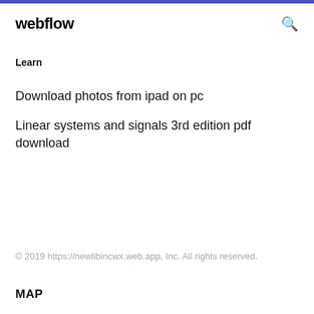webflow
Learn
Download photos from ipad on pc
Linear systems and signals 3rd edition pdf download
© 2019 https://newlibincwx.web.app, Inc. All rights reserved.
MAP